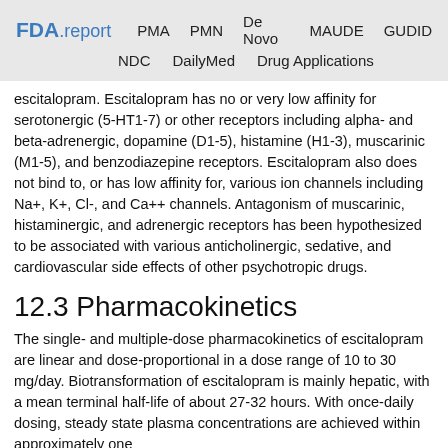FDA.report  PMA  PMN  De Novo  MAUDE  GUDID  NDC  DailyMed  Drug Applications
escitalopram. Escitalopram has no or very low affinity for serotonergic (5-HT1-7) or other receptors including alpha- and beta-adrenergic, dopamine (D1-5), histamine (H1-3), muscarinic (M1-5), and benzodiazepine receptors. Escitalopram also does not bind to, or has low affinity for, various ion channels including Na+, K+, Cl-, and Ca++ channels. Antagonism of muscarinic, histaminergic, and adrenergic receptors has been hypothesized to be associated with various anticholinergic, sedative, and cardiovascular side effects of other psychotropic drugs.
12.3 Pharmacokinetics
The single- and multiple-dose pharmacokinetics of escitalopram are linear and dose-proportional in a dose range of 10 to 30 mg/day. Biotransformation of escitalopram is mainly hepatic, with a mean terminal half-life of about 27-32 hours. With once-daily dosing, steady state plasma concentrations are achieved within approximately one